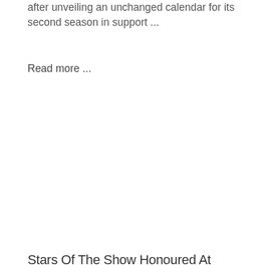after unveiling an unchanged calendar for its second season in support ...
Read more ...
Stars Of The Show Honoured At